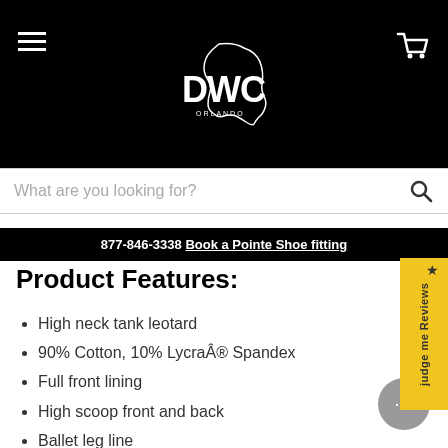DWC Orlando — header with logo, hamburger menu, cart
What are you looking for?
877-846-3338 Book a Pointe Shoe fitting
Product Features:
High neck tank leotard
90% Cotton, 10% Lycra® Spandex
Full front lining
High scoop front and back
Ballet leg line
Machine wash cold, delicate cycle and hang dry